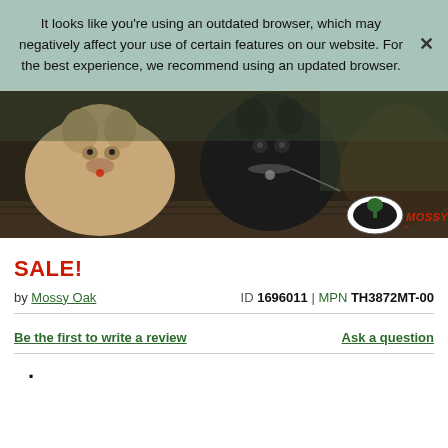It looks like you're using an outdated browser, which may negatively affect your use of certain features on our website. For the best experience, we recommend using an updated browser.
[Figure (photo): Photo showing dogs (a light-colored dog and a black Labrador) resting on a wooden surface, with a Mossy Oak logo in the bottom right corner.]
SALE!
by Mossy Oak   ID 1696011 | MPN TH3872MT-00
Be the first to write a review   Ask a question